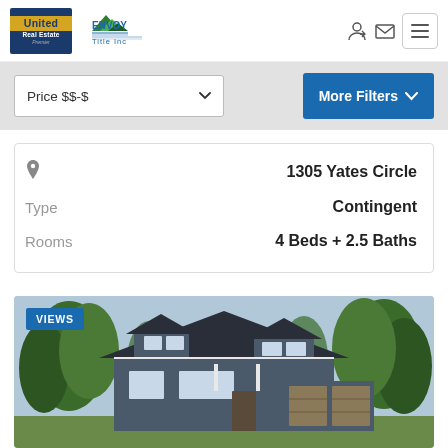[Figure (logo): United Real Estate Premier logo (dark blue background with gold United text) and Envoy Title Inc logo (green roof graphic with teal text)]
Price $$-$
More Filters
1305 Yates Circle
Type    Contingent
Rooms    4 Beds + 2.5 Baths
[Figure (photo): Two-story craftsman-style house with dark gray/blue siding, white trim, attached garage, surrounded by trees. Badge reading VIEWS overlaid top-left.]